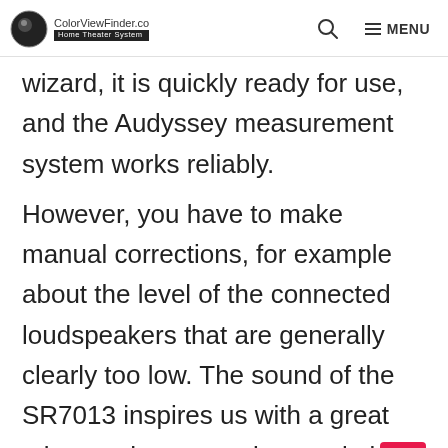ColorViewFinder.co Home Theater System | Search | MENU
wizard, it is quickly ready for use, and the Audyssey measurement system works reliably.
However, you have to make manual corrections, for example about the level of the connected loudspeakers that are generally clearly too low. The sound of the SR7013 inspires us with a great mix of homogeneity, resolution, and dynamics.